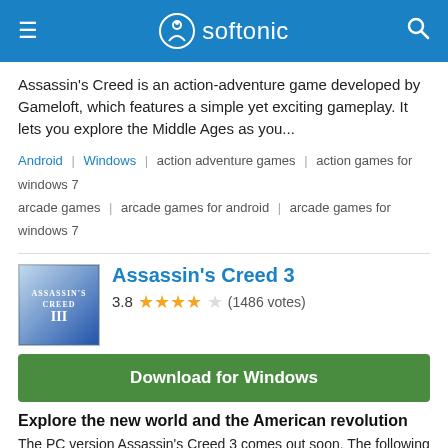softonic
Assassin's Creed is an action-adventure game developed by Gameloft, which features a simple yet exciting gameplay. It lets you explore the Middle Ages as you...
Android | Windows | action adventure games | action games for windows 7 arcade games | arcade games for android | arcade games for windows 7
[Figure (screenshot): Assassin's Creed 3 app icon showing a hooded figure, blue-tinted cover art]
Assassin's Creed 3
3.8 ★★★★☆ (1486 votes)
Download for Windows
Explore the new world and the American revolution
The PC version Assassin's Creed 3 comes out soon. The following review is based on the XBox 360 version, but we don't expect major differences, except for an...
Windows | assassin's creed games | assassin's creed games for windows